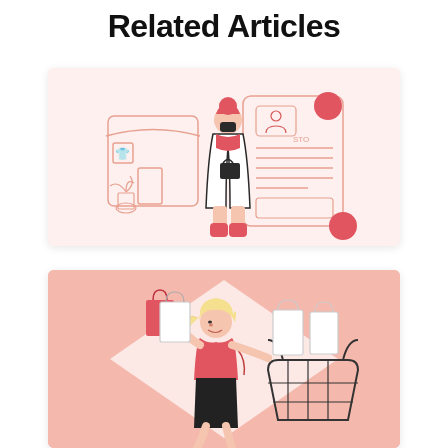Related Articles
[Figure (illustration): Illustration of a woman with pink hair wearing a long coat and carrying a bag, walking past a stylized phone screen showing a profile card, with a shop storefront in the background. Pink and black color scheme on a light pink background.]
[Figure (illustration): Illustration of a cheerful woman with blonde hair wearing an orange top and black skirt, running while holding multiple shopping bags. A wire shopping basket with bags is beside her. On a salmon/coral pink background with a white diamond shape.]